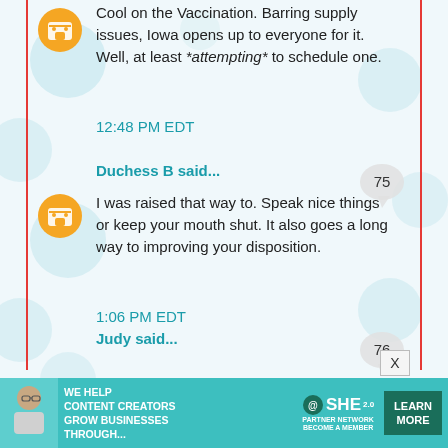Cool on the Vaccination. Barring supply issues, Iowa opens up to everyone for it. Well, at least *attempting* to schedule one.
12:48 PM EDT
Duchess B said...
I was raised that way to. Speak nice things or keep your mouth shut. It also goes a long way to improving your disposition.
1:06 PM EDT
Judy said...
So glad you and hubster got your shots, I have both of mine but our state is very behind on the vaccinations. Those who qualify are still having a difficult time getting an appointment. My daughter works for one of our hospitals and the building has been set up for months as one of the sites but there is no vaccine then there are parts of the state that
[Figure (infographic): SHE Media advertisement banner: 'We help content creators grow businesses through...' with SHE Partner Network logo and Learn More button]